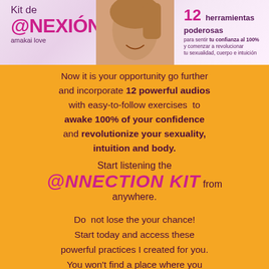[Figure (illustration): Header banner showing 'Kit de CONEXIÓN' branding by amakai love on the left, a woman's face photo in the center, and '12 herramientas poderosas para sentir tu confianza al 100% y comenzar a revolucionar...' text on the right, on a light pink/purple gradient background.]
Now it is your opportunity go further and incorporate 12 powerful audios with easy-to-follow exercises to awake 100% of your confidence and revolutionize your sexuality, intuition and body.
Start listening the CONNECTION KIT from anywhere.
Do not lose the your chance! Start today and access these powerful practices I created for you. You won't find a place where you can get all of those together for the